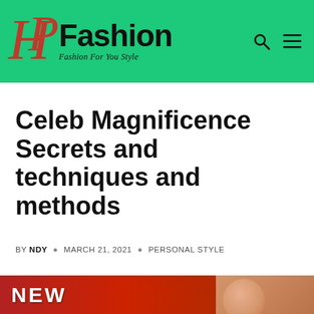HP Fashion – Fashion For You Style
Celeb Magnificence Secrets and techniques and methods
BY NDY • MARCH 21, 2021 • PERSONAL STYLE
[Figure (photo): Bottom partial image showing red background with NEW text and partial face]